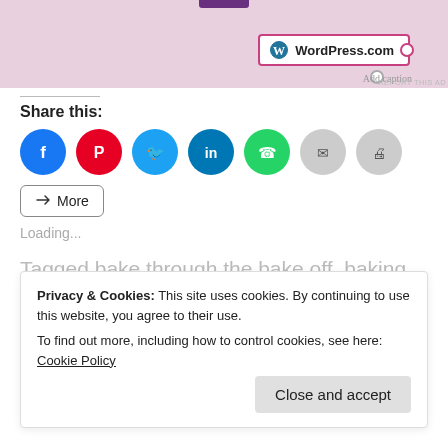[Figure (screenshot): WordPress.com advertisement banner with pink background, showing a WordPress.com logo in a box with caption area below]
REPORT THIS AD
Share this:
[Figure (infographic): Social sharing icons: Facebook (blue), Pinterest (red), Twitter (light blue), LinkedIn (dark blue), WhatsApp (green), Email (gray), Print (gray), and More button]
Loading...
Tagged bake through the bake off, baking through the bake off, baklava, coconut lime, filo dough, GBBO, GBBS, Great
Privacy & Cookies: This site uses cookies. By continuing to use this website, you agree to their use.
To find out more, including how to control cookies, see here: Cookie Policy
Close and accept